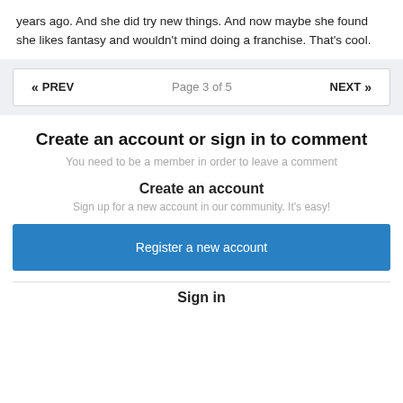years ago. And she did try new things. And now maybe she found she likes fantasy and wouldn't mind doing a franchise. That's cool.
« PREV   Page 3 of 5   NEXT »
Create an account or sign in to comment
You need to be a member in order to leave a comment
Create an account
Sign up for a new account in our community. It's easy!
Register a new account
Sign in